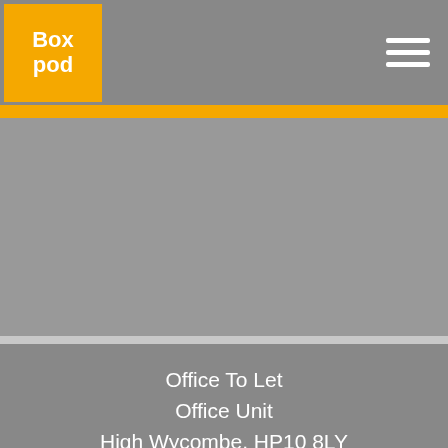BoxPod logo and navigation
[Figure (photo): Property image placeholder - gray rectangle representing an office unit photo]
Office To Let
Office Unit
High Wycombe, HP10 8LY
915 sq ft
Available
£22200pa
£1850pm
More Details